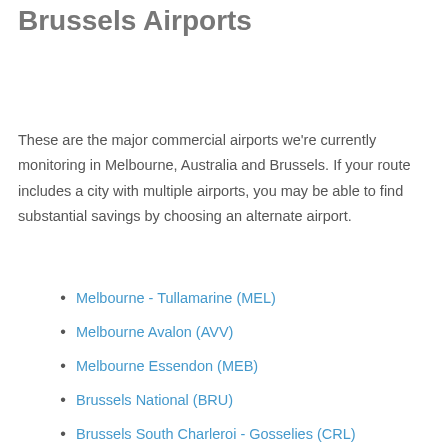Brussels Airports
These are the major commercial airports we're currently monitoring in Melbourne, Australia and Brussels. If your route includes a city with multiple airports, you may be able to find substantial savings by choosing an alternate airport.
Melbourne - Tullamarine (MEL)
Melbourne Avalon (AVV)
Melbourne Essendon (MEB)
Brussels National (BRU)
Brussels South Charleroi - Gosselies (CRL)